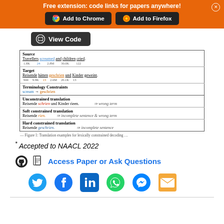Free extension: code links for papers anywhere!
[Figure (screenshot): Add to Chrome and Add to Firefox browser extension buttons on orange banner]
[Figure (screenshot): GitHub View Code button]
| Source |  |
| Travellers screamed and children cried. |  |
| 1.8K  24  2.8M  30.0K  122 |  |
| Target |  |
| Reisende hätten geschrien und Kinder geweint. |  |
| 944  9.9K  13  2.6M  20.1K  13 |  |
| Terminology Constraints |  |
| scream → geschrien |  |
| Unconstrained translation |  |
| Reisende schrien und Kinder rieen. | ⇒ wrong term |
| Soft constrained translation |  |
| Reisende rien. | ⇒ incomplete sentence & wrong term |
| Hard constrained translation |  |
| Reisende geschrien. | ⇒ incomplete sentence |
Figure 1: Translation examples for lexically constrained decoding
* Accepted to NAACL 2022
Access Paper or Ask Questions
[Figure (infographic): Social share icons: Twitter, Facebook, LinkedIn, WhatsApp, Messenger, Email]